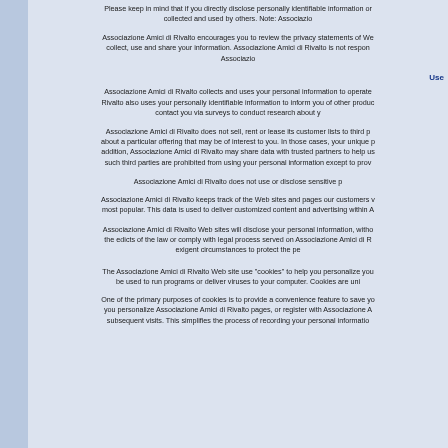Please keep in mind that if you directly disclose personally identifiable information or personally sensitive data through Associazione Amici di Rivalto public message boards, this information may be collected and used by others. Note: Associazione Amici di Rivalto does not read any of your private online communications.
Associazione Amici di Rivalto encourages you to review the privacy statements of Web sites you choose to link to from Associazione Amici di Rivalto so that you can understand how those Web sites collect, use and share your information. Associazione Amici di Rivalto is not responsible for the privacy statements or other content on Web sites outside of the Associazione Amici di Rivalto and Associazione Amici di Rivalto family of Web sites.
Use of your Personal Information
Associazione Amici di Rivalto collects and uses your personal information to operate the Associazione Amici di Rivalto Web site and deliver the services you have requested. Associazione Amici di Rivalto also uses your personally identifiable information to inform you of other products or services available from Associazione Amici di Rivalto and its affiliates. Associazione Amici di Rivalto may also contact you via surveys to conduct research about your opinion of current services or of potential new services that may be offered.
Associazione Amici di Rivalto does not sell, rent or lease its customer lists to third parties. Associazione Amici di Rivalto may, from time to time, contact you on behalf of external business partners about a particular offering that may be of interest to you. In those cases, your unique personally identifiable information (e-mail, name, address, telephone number) is not transferred to the third party. In addition, Associazione Amici di Rivalto may share data with trusted partners to help us perform statistical analysis, send you email or postal mail, provide customer support, or arrange for deliveries. All such third parties are prohibited from using your personal information except to provide these services to Associazione Amici di Rivalto, and they are required to maintain the confidentiality of your information.
Associazione Amici di Rivalto does not use or disclose sensitive personal information, such as race, religion, or political affiliations, without your explicit consent.
Associazione Amici di Rivalto keeps track of the Web sites and pages our customers visit within Associazione Amici di Rivalto, in order to determine what Associazione Amici di Rivalto services are the most popular. This data is used to deliver customized content and advertising within Associazione Amici di Rivalto to customers whose behavior indicates that they are interested in a particular subject area.
Associazione Amici di Rivalto Web sites will disclose your personal information, without notice, only if required to do so by law or in the good faith belief that such action is necessary to: (a) conform to the edicts of the law or comply with legal process served on Associazione Amici di Rivalto or the site; (b) protect and defend the rights or property of Associazione Amici di Rivalto; and, (c) act under exigent circumstances to protect the personal safety of users of Associazione Amici di Rivalto, or the public.
The Associazione Amici di Rivalto Web site use "cookies" to help you personalize your online experience. A cookie is a text file that is placed on your hard disk by a Web page server. Cookies cannot be used to run programs or deliver viruses to your computer. Cookies are uniquely assigned to you, and can only be read by a web server in the domain that issued the cookie to you.
One of the primary purposes of cookies is to provide a convenience feature to save you time. The purpose of a cookie is to tell the Web server that you have returned to a specific page. For example, if you personalize Associazione Amici di Rivalto pages, or register with Associazione Amici di Rivalto site or services, a cookie helps Associazione Amici di Rivalto to recall your specific information on subsequent visits. This simplifies the process of recording your personal information, such as billing addresses, shipping addresses, and so on.